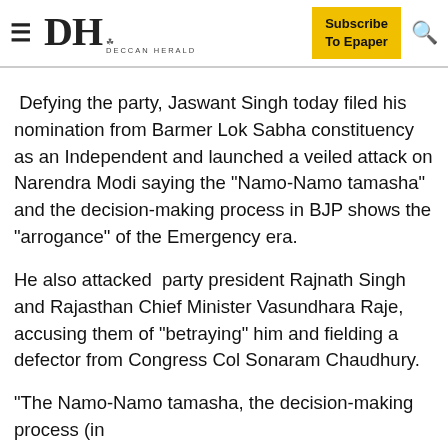DH DECCAN HERALD | Subscribe To Epaper
Defying the party, Jaswant Singh today filed his nomination from Barmer Lok Sabha constituency as an Independent and launched a veiled attack on Narendra Modi saying the "Namo-Namo tamasha" and the decision-making process in BJP shows the "arrogance" of the Emergency era.
He also attacked party president Rajnath Singh and Rajasthan Chief Minister Vasundhara Raje, accusing them of "betraying" him and fielding a defector from Congress Col Sonaram Chaudhury.
"The Namo-Namo tamasha, the decision-making process (in